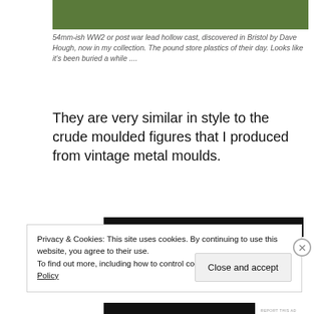[Figure (photo): Partial view of a grassy area, likely showing a figurine on grass background.]
54mm-ish WW2 or post war lead hollow cast, discovered in Bristol by Dave Hough, now in my collection. The pound store plastics of their day. Looks like it's been buried a while ....
They are very similar in style to the crude moulded figures that I produced from vintage metal moulds.
[Figure (screenshot): Dark advertisement banner bar.]
REPORT THIS AD
Privacy & Cookies: This site uses cookies. By continuing to use this website, you agree to their use.
To find out more, including how to control cookies, see here: Cookie Policy
Close and accept